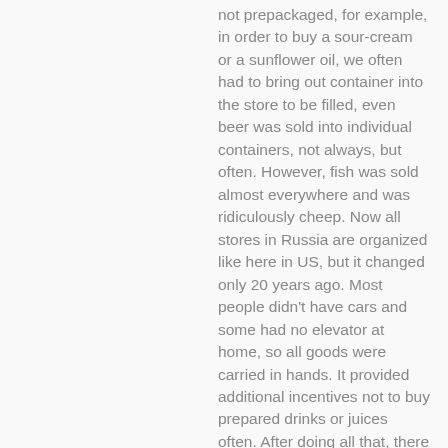not prepackaged, for example, in order to buy a sour-cream or a sunflower oil, we often had to bring out container into the store to be filled, even beer was sold into individual containers, not always, but often. However, fish was sold almost everywhere and was ridiculously cheep. Now all stores in Russia are organized like here in US, but it changed only 20 years ago. Most people didn't have cars and some had no elevator at home, so all goods were carried in hands. It provided additional incentives not to buy prepared drinks or juices often. After doing all that, there is a fat chance many people would comfortably put any food in a garbage. On the top of it, most of our pay-checks was spent on groceries. I still don't waste my food. My son ,who is naturally lean, had a wonderful satiety regulation, no matter what kind of food, how much he likes it, or how much is left, when he is full, he would not touch a crumb. I use leftovers later when prepare another dish, like leftovers of broccoli go to some omelet, leftover of mushed potatoes of meat got frozen and added to some cooked soup later, things like that. Cabbage stew is a convenient